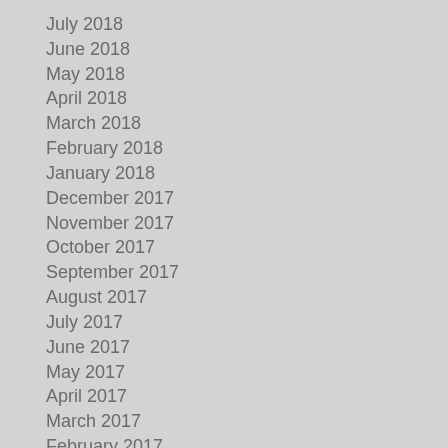July 2018
June 2018
May 2018
April 2018
March 2018
February 2018
January 2018
December 2017
November 2017
October 2017
September 2017
August 2017
July 2017
June 2017
May 2017
April 2017
March 2017
February 2017
January 2017
October 2016
February 2016